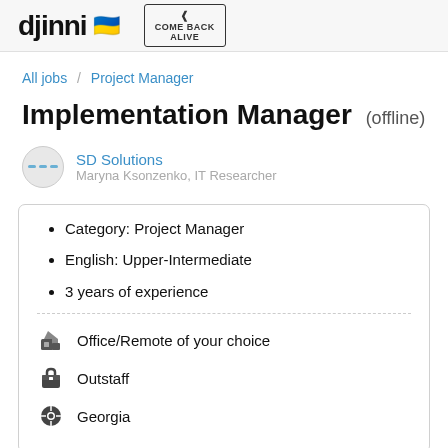djinni 🇺🇦  COME BACK ALIVE
All jobs / Project Manager
Implementation Manager (offline)
SD Solutions
Maryna Ksonzenko, IT Researcher
Category: Project Manager
English: Upper-Intermediate
3 years of experience
Office/Remote of your choice
Outstaff
Georgia